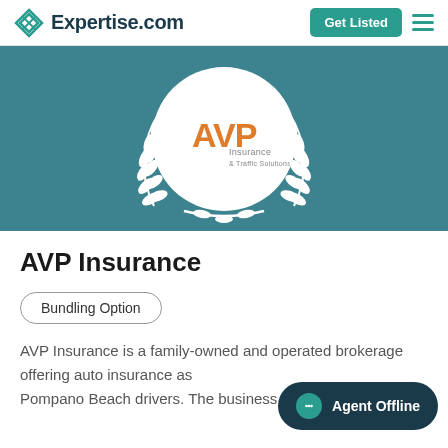Expertise.com
[Figure (logo): AVP Insurance logo inside a white circle with white laurel wreath on teal background]
AVP Insurance
Bundling Option
AVP Insurance is a family-owned and operated brokerage offering auto insurance as Pompano Beach drivers. The business has been